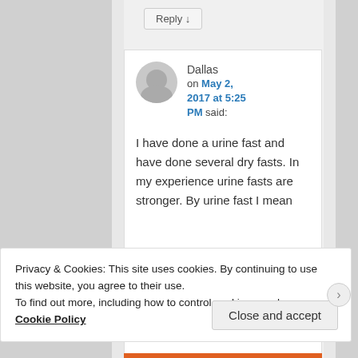Reply ↓
Dallas on May 2, 2017 at 5:25 PM said:
I have done a urine fast and have done several dry fasts. In my experience urine fasts are stronger. By urine fast I mean
Privacy & Cookies: This site uses cookies. By continuing to use this website, you agree to their use. To find out more, including how to control cookies, see here: Cookie Policy
Close and accept